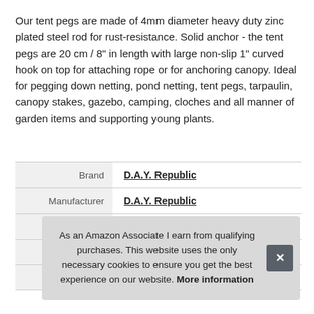Our tent pegs are made of 4mm diameter heavy duty zinc plated steel rod for rust-resistance. Solid anchor - the tent pegs are 20 cm / 8" in length with large non-slip 1" curved hook on top for attaching rope or for anchoring canopy. Ideal for pegging down netting, pond netting, tent pegs, tarpaulin, canopy stakes, gazebo, camping, cloches and all manner of garden items and supporting young plants.
|  |  |
| --- | --- |
| Brand | D.A.Y. Republic |
| Manufacturer | D.A.Y. Republic |
| Height | 0.4 cm (0.16 Inches) |
| P |  |
| Model |  |
As an Amazon Associate I earn from qualifying purchases. This website uses the only necessary cookies to ensure you get the best experience on our website. More information